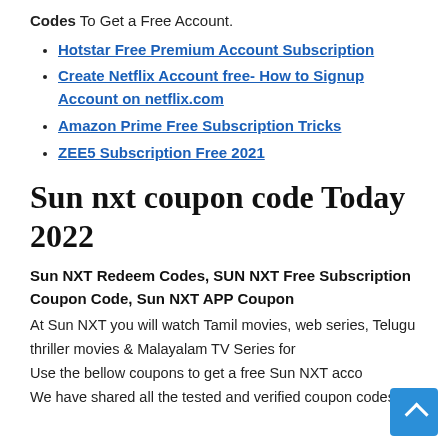Codes To Get a Free Account.
Hotstar Free Premium Account Subscription
Create Netflix Account free- How to Signup Account on netflix.com
Amazon Prime Free Subscription Tricks
ZEE5 Subscription Free 2021
Sun nxt coupon code Today 2022
Sun NXT Redeem Codes, SUN NXT Free Subscription Coupon Code, Sun NXT APP Coupon At Sun NXT you will watch Tamil movies, web series, Telugu thriller movies & Malayalam TV Series for Use the bellow coupons to get a free Sun NXT acco We have shared all the tested and verified coupon codes